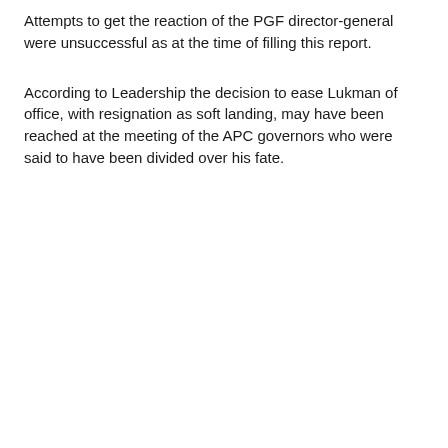Attempts to get the reaction of the PGF director-general were unsuccessful as at the time of filling this report.
According to Leadership the decision to ease Lukman of office, with resignation as soft landing, may have been reached at the meeting of the APC governors who were said to have been divided over his fate.